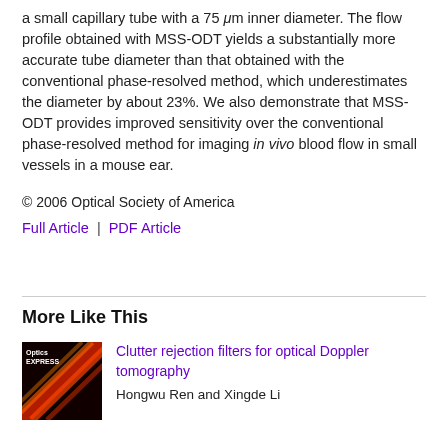a small capillary tube with a 75 μm inner diameter. The flow profile obtained with MSS-ODT yields a substantially more accurate tube diameter than that obtained with the conventional phase-resolved method, which underestimates the diameter by about 23%. We also demonstrate that MSS-ODT provides improved sensitivity over the conventional phase-resolved method for imaging in vivo blood flow in small vessels in a mouse ear.
© 2006 Optical Society of America
Full Article | PDF Article
More Like This
[Figure (photo): Thumbnail image of Optics Express journal cover showing red and orange diagonal lines on dark background]
Clutter rejection filters for optical Doppler tomography
Hongwu Ren and Xingde Li